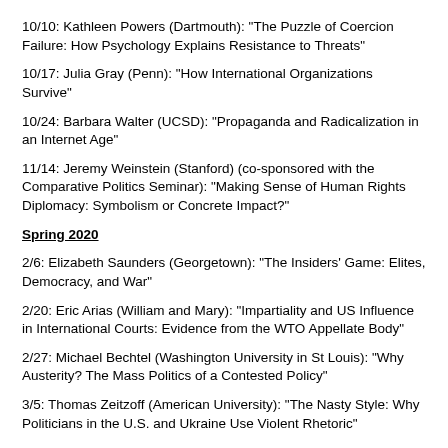10/10: Kathleen Powers (Dartmouth): "The Puzzle of Coercion Failure: How Psychology Explains Resistance to Threats"
10/17: Julia Gray (Penn): "How International Organizations Survive"
10/24: Barbara Walter (UCSD): "Propaganda and Radicalization in an Internet Age"
11/14: Jeremy Weinstein (Stanford) (co-sponsored with the Comparative Politics Seminar): "Making Sense of Human Rights Diplomacy: Symbolism or Concrete Impact?"
Spring 2020
2/6: Elizabeth Saunders (Georgetown): "The Insiders' Game: Elites, Democracy, and War"
2/20: Eric Arias (William and Mary): "Impartiality and US Influence in International Courts: Evidence from the WTO Appellate Body"
2/27: Michael Bechtel (Washington University in St Louis): "Why Austerity? The Mass Politics of a Contested Policy"
3/5: Thomas Zeitzoff (American University): "The Nasty Style: Why Politicians in the U.S. and Ukraine Use Violent Rhetoric"